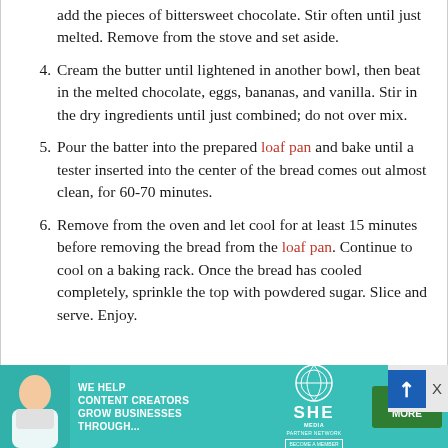add the pieces of bittersweet chocolate. Stir often until just melted. Remove from the stove and set aside.
4. Cream the butter until lightened in another bowl, then beat in the melted chocolate, eggs, bananas, and vanilla. Stir in the dry ingredients until just combined; do not over mix.
5. Pour the batter into the prepared loaf pan and bake until a tester inserted into the center of the bread comes out almost clean, for 60-70 minutes.
6. Remove from the oven and let cool for at least 15 minutes before removing the bread from the loaf pan. Continue to cool on a baking rack. Once the bread has cooled completely, sprinkle the top with powdered sugar. Slice and serve. Enjoy.
[Figure (infographic): Advertisement banner for SHE Media Partner Network. Teal/green background with a woman photo on left, text 'WE HELP CONTENT CREATORS GROW BUSINESSES THROUGH...', SHE Media logo in center, and green 'LEARN MORE' button on right.]